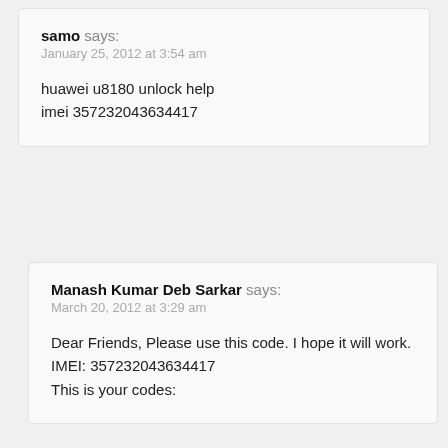samo says:
January 25, 2012 at 3:54 am
huawei u8180 unlock help
imei 357232043634417
Manash Kumar Deb Sarkar says:
March 20, 2012 at 3:29 am
Dear Friends, Please use this code. I hope it will work.
IMEI: 357232043634417
This is your codes: